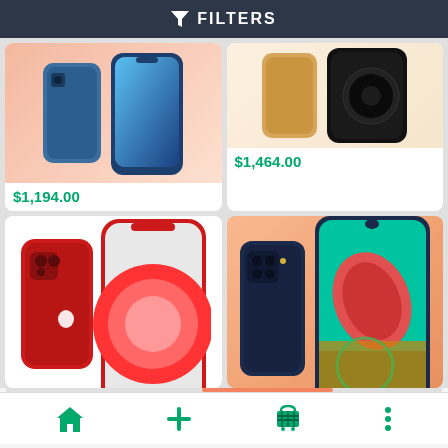FILTERS
[Figure (photo): Blue iPhone shown from front and back on peach/salmon gradient background]
$1,194.00
[Figure (photo): Gold and black iPhone shown on light peach background]
$1,464.00
[Figure (photo): Red iPhone 12 shown from front and back on white background]
$1,429.00
[Figure (photo): Dark blue Samsung Galaxy phone shown from front and back on peach/orange gradient background]
$559.00
Home | Add | Cart | More